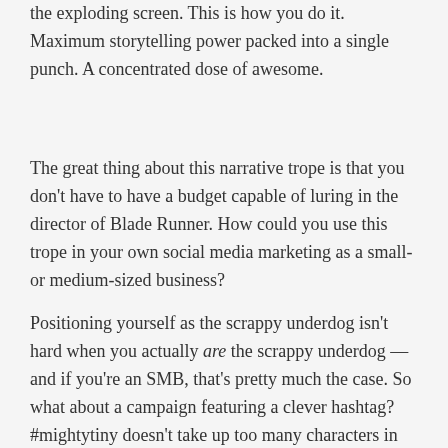the exploding screen. This is how you do it. Maximum storytelling power packed into a single punch. A concentrated dose of awesome.
The great thing about this narrative trope is that you don't have to have a budget capable of luring in the director of Blade Runner. How could you use this trope in your own social media marketing as a small- or medium-sized business?
Positioning yourself as the scrappy underdog isn't hard when you actually are the scrappy underdog — and if you're an SMB, that's pretty much the case. So what about a campaign featuring a clever hashtag? #mightytiny doesn't take up too many characters in case you need to use it on Twitter, and doesn't make you sound ineffectual.